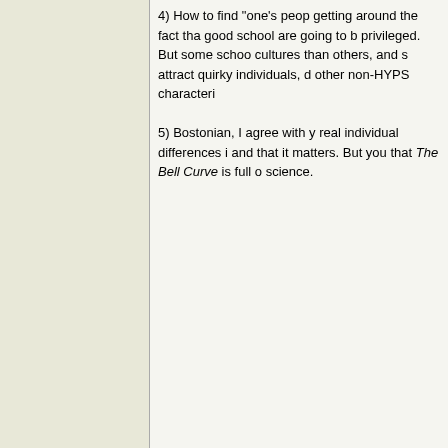4) How to find "one's people" — getting around the fact that a good school are going to be privileged. But some schools cultures than others, and s attract quirky individuals, d other non-HYPS characteri
5) Bostonian, I agree with y real individual differences i and that it matters. But you that The Bell Curve is full o science.
Top
Re: Ivy League Admissions. [Re: 22B] #197190 -
MegMeg
Member
Registered: 03/14/10
Posts: 615
Just want to add, there AR top-notch education at a la university. HK's DD, for exa hangin' with a research tea undergrad? I was shy, grou what I wanted to study. I w drowned in anonymity at a
Top